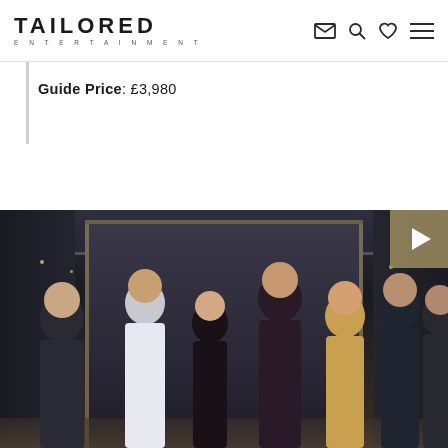TAILORED ENTERTAINMENT
Guide Price: £3,980
[Figure (photo): Group photo of seven performers dressed in 1920s/Great Gatsby style attire — men in waistcoats and bow ties, women in flapper dresses — posing in an art deco venue interior with ornate mirror and chandelier lighting. A video play button overlay appears in the top-right corner of the image.]